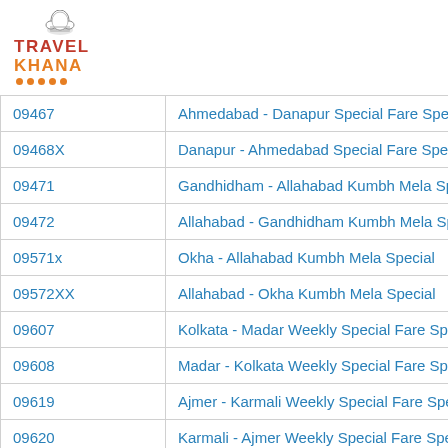[Figure (logo): Travel Khana logo with chef hat icon, red TRAVEL text, orange KHANA text, and orange dots underline]
| 09467 | Ahmedabad - Danapur Special Fare Specia |
| 09468X | Danapur - Ahmedabad Special Fare Specia |
| 09471 | Gandhidham - Allahabad Kumbh Mela Spe |
| 09472 | Allahabad - Gandhidham Kumbh Mela Spe |
| 09571x | Okha - Allahabad Kumbh Mela Special |
| 09572XX | Allahabad - Okha Kumbh Mela Special |
| 09607 | Kolkata - Madar Weekly Special Fare Spec |
| 09608 | Madar - Kolkata Weekly Special Fare Spec |
| 09619 | Ajmer - Karmali Weekly Special Fare Spec |
| 09620 | Karmali - Ajmer Weekly Special Fare Spec |